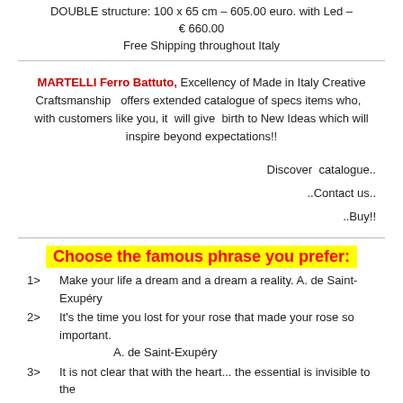DOUBLE structure: 100 x 65 cm – 605.00 euro. with Led – € 660.00
Free Shipping throughout Italy
MARTELLI Ferro Battuto, Excellency of Made in Italy Creative Craftsmanship  offers extended catalogue of specs items who,  with customers like you, it  will give  birth to New Ideas which will inspire beyond expectations!!
Discover  catalogue..
..Contact us..
..Buy!!
Choose the famous phrase you prefer:
1>  Make your life a dream and a dream a reality. A. de Saint-Exupéry
2>  It's the time you lost for your rose that made your rose so important. A. de Saint-Exupéry
3>  It is not clear that with the heart... the essential is invisible to the